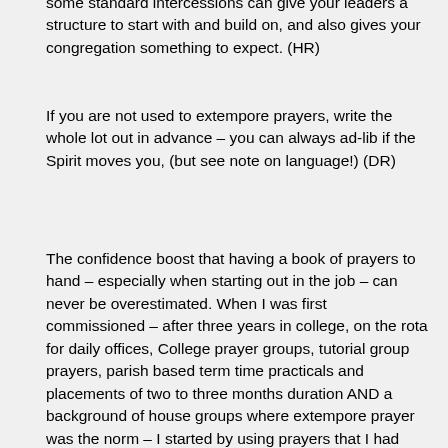some standard intercessions can give your leaders a structure to start with and build on, and also gives your congregation something to expect. (HR)
If you are not used to extempore prayers, write the whole lot out in advance – you can always ad-lib if the Spirit moves you, (but see note on language!) (DR)
The confidence boost that having a book of prayers to hand – especially when starting out in the job – can never be overestimated. When I was first commissioned – after three years in college, on the rota for daily offices, College prayer groups, tutorial group prayers, parish based term time practicals and placements of two to three months duration AND a background of house groups where extempore prayer was the norm – I started by using prayers that I had collected from all sorts of places, written out & placed in a ring binder. I would arrange them in order before the service, interleafed with any specific topics to be prayed for. After a while, the 'collected' prayers were replaced by ones which I had written myself. As well as boosting my confidence, this also avoided the 'twenty minutes later & still at it' syndrome.
In some respects the revisions from Series 2 onwards have imposed a similar, if somewhat low-fat, structure. (DR)